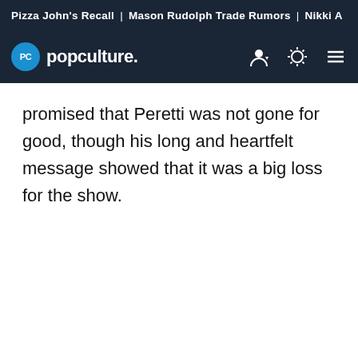Pizza John's Recall | Mason Rudolph Trade Rumors | Nikki A
[Figure (logo): Popculture.com logo with navigation icons (user, theme toggle, hamburger menu) on dark navy background]
promised that Peretti was not gone for good, though his long and heartfelt message showed that it was a big loss for the show.